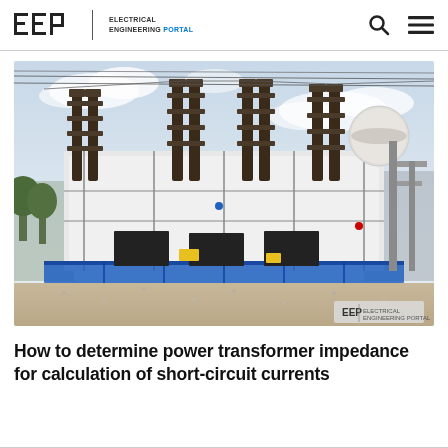EEP | ELECTRICAL ENGINEERING PORTAL
[Figure (photo): Outdoor electrical substation with high-voltage insulators, circuit breakers, and transformers. Blue containment barriers visible at ground level. EEP watermark in bottom-right corner.]
How to determine power transformer impedance for calculation of short-circuit currents